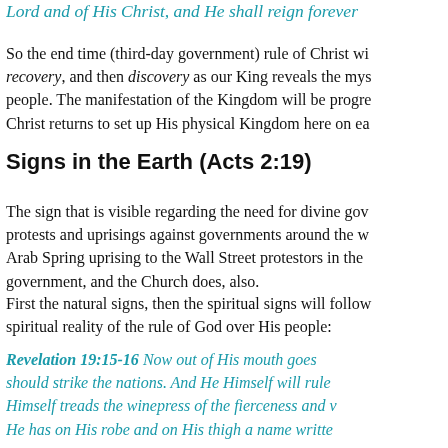Lord and of His Christ, and He shall reign forever
So the end time (third-day government) rule of Christ wi recovery, and then discovery as our King reveals the mys people. The manifestation of the Kingdom will be progre Christ returns to set up His physical Kingdom here on ea
Signs in the Earth (Acts 2:19)
The sign that is visible regarding the need for divine gov protests and uprisings against governments around the w Arab Spring uprising to the Wall Street protestors in the government, and the Church does, also.
First the natural signs, then the spiritual signs will follow spiritual reality of the rule of God over His people:
Revelation 19:15-16 Now out of His mouth goes should strike the nations. And He Himself will rule Himself treads the winepress of the fierceness and v He has on His robe and on His thigh a name writte